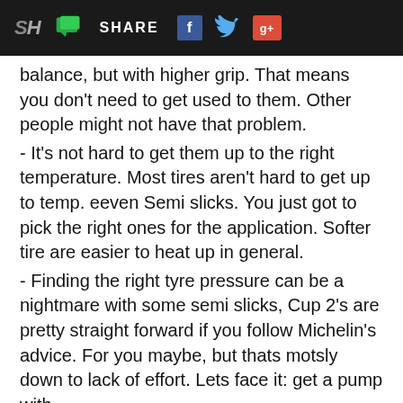SH SHARE f [twitter] g+
balance, but with higher grip. That means you don't need to get used to them. Other people might not have that problem.
- It's not hard to get them up to the right temperature. Most tires aren't hard to get up to temp. eeven Semi slicks. You just got to pick the right ones for the application. Softer tire are easier to heat up in general.
- Finding the right tyre pressure can be a nightmare with some semi slicks, Cup 2's are pretty straight forward if you follow Michelin's advice. For you maybe, but thats motsly down to lack of effort. Lets face it: get a pump with